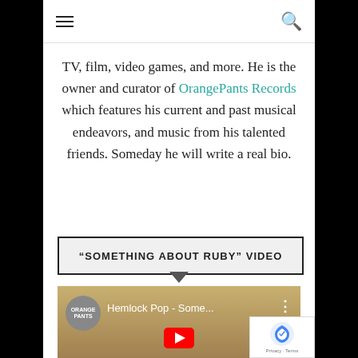Navigation menu and search icons
TV, film, video games, and more. He is the owner and curator of OrangePants Records which features his current and past musical endeavors, and music from his talented friends. Someday he will write a real bio.
“SOMETHING ABOUT RUBY” VIDEO
[Figure (screenshot): YouTube video thumbnail showing Hemlock Pop - Some... with Orange Pants Records channel logo, play button, and three-dot menu]